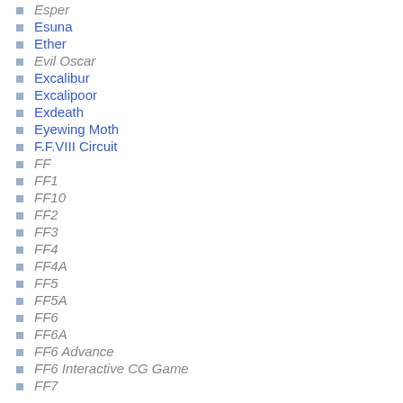Esper
Esuna
Ether
Evil Oscar
Excalibur
Excalipoor
Exdeath
Eyewing Moth
F.F.VIII Circuit
FF
FF1
FF10
FF2
FF3
FF4
FF4A
FF5
FF5A
FF6
FF6A
FF6 Advance
FF6 Interactive CG Game
FF7